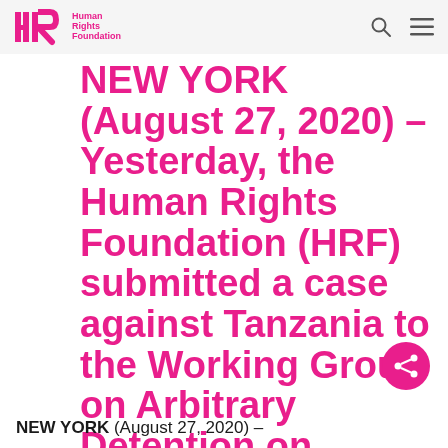Human Rights Foundation
NEW YORK (August 27, 2020) – Yesterday, the Human Rights Foundation (HRF) submitted a case against Tanzania to the Working Group on Arbitrary Detention on behalf of Theodory Faustine Giyan,...
NEW YORK (August 27, 2020) –